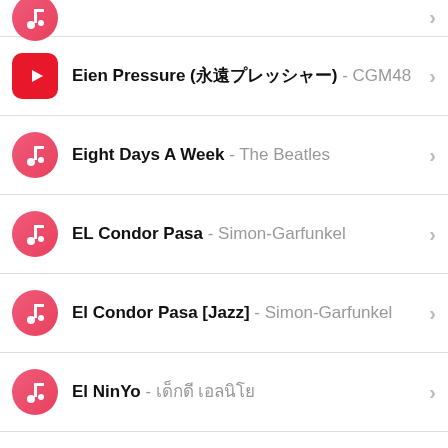(partial row - music icon only visible at top)
Eien Pressure (永遠プレッシャー) - CGM48
Eight Days A Week - The Beatles
EL Condor Pasa - Simon-Garfunkel
El Condor Pasa [Jazz] - Simon-Garfunkel
El NinYo - เด็กดี เอลนิโย
Eleanor Rigby - The Beatles